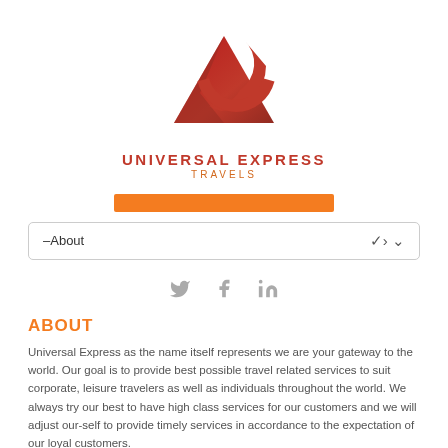[Figure (logo): Universal Express Travels logo: red triangle with red crescent arc above it, company name below]
[Figure (other): Orange horizontal bar/divider]
–About
[Figure (other): Social media icons: Twitter bird, Facebook f, LinkedIn in]
ABOUT
Universal Express as the name itself represents we are your gateway to the world. Our goal is to provide best possible travel related services to suit corporate, leisure travelers as well as individuals throughout the world. We always try our best to have high class services for our customers and we will adjust our-self to provide timely services in accordance to the expectation of our loyal customers.